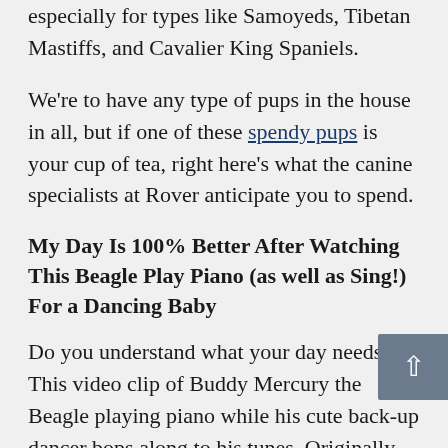especially for types like Samoyeds, Tibetan Mastiffs, and Cavalier King Spaniels.
We're to have any type of pups in the house in all, but if one of these spendy pups is your cup of tea, right here's what the canine specialists at Rover anticipate you to spend.
My Day Is 100% Better After Watching This Beagle Play Piano (as well as Sing!) For a Dancing Baby
Do you understand what your day needs? This video clip of Buddy Mercury the Beagle playing piano while his cute back-up dancer bops along to his tunes. Originally uploaded back in April, this wonderful duo is going viral once more after posts by Missy Elliott and Allison Janney on social networks. It's a lovable video no matter when you see it!